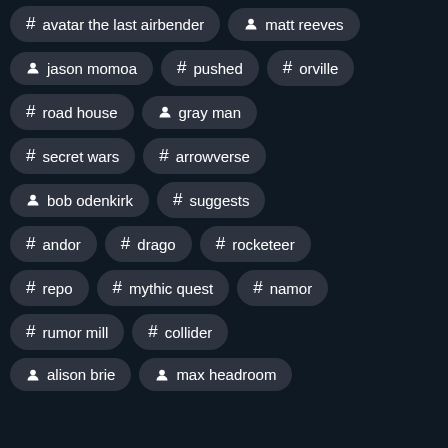# avatar the last airbender
person matt reeves
person jason momoa
# pushed
# orville
# road house
person gray man
# secret wars
# arrowverse
person bob odenkirk
# suggests
# andor
# drago
# rocketeer
# repo
# mythic quest
# namor
# rumor mill
# collider
person alison brie
person max headroom